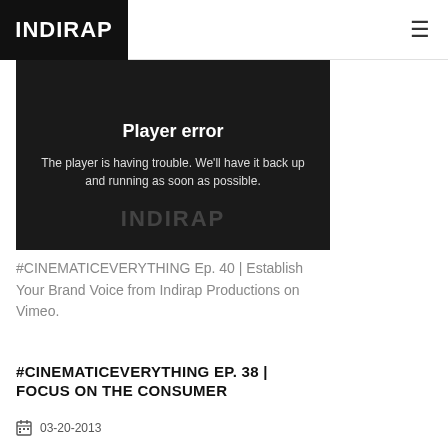INDIRAP
[Figure (screenshot): Video player showing error message: 'Player error — The player is having trouble. We'll have it back up and running as soon as possible.' Dark background with INDIRAP watermark.]
#CINEMATICEVERYTHING Ep. 40 | Establish Your Brand Voice from Indirap Productions on Vimeo.
#CINEMATICEVERYTHING EP. 38 | FOCUS ON THE CONSUMER
03-20-2013